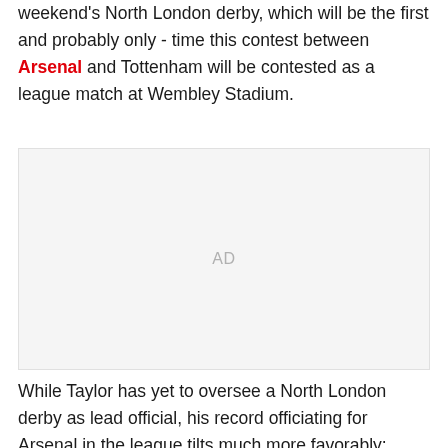weekend's North London derby, which will be the first and probably only - time this contest between Arsenal and Tottenham will be contested as a league match at Wembley Stadium.
[Figure (other): Advertisement placeholder box with 'AD' label]
While Taylor has yet to oversee a North London derby as lead official, his record officiating for Arsenal in the league tilts much more favorably: Arsenal have only